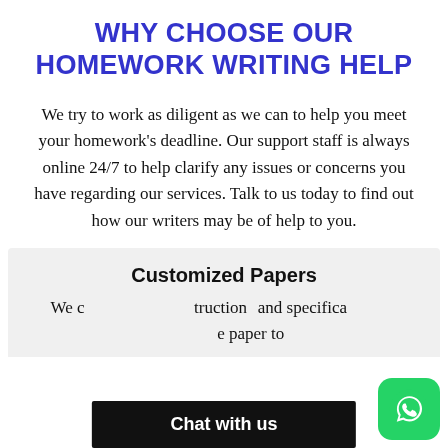WHY CHOOSE OUR HOMEWORK WRITING HELP
We try to work as diligent as we can to help you meet your homework's deadline. Our support staff is always online 24/7 to help clarify any issues or concerns you have regarding our services. Talk to us today to find out how our writers may be of help to you.
Customized Papers
We consider your instructions and specifications to tailor the paper to